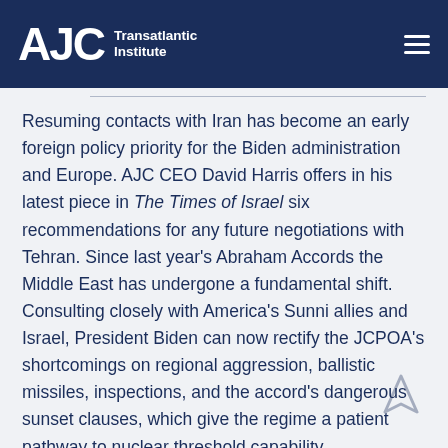AJC Transatlantic Institute
Resuming contacts with Iran has become an early foreign policy priority for the Biden administration and Europe. AJC CEO David Harris offers in his latest piece in The Times of Israel six recommendations for any future negotiations with Tehran. Since last year's Abraham Accords the Middle East has undergone a fundamental shift. Consulting closely with America's Sunni allies and Israel, President Biden can now rectify the JCPOA's shortcomings on regional aggression, ballistic missiles, inspections, and the accord's dangerous sunset clauses, which give the regime a patient pathway to nuclear threshold capability.
#Iran